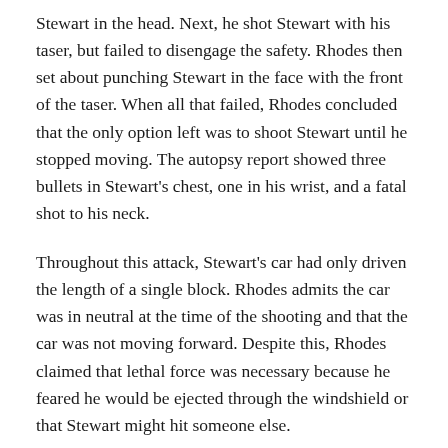Stewart in the head. Next, he shot Stewart with his taser, but failed to disengage the safety. Rhodes then set about punching Stewart in the face with the front of the taser. When all that failed, Rhodes concluded that the only option left was to shoot Stewart until he stopped moving. The autopsy report showed three bullets in Stewart's chest, one in his wrist, and a fatal shot to his neck.
Throughout this attack, Stewart's car had only driven the length of a single block. Rhodes admits the car was in neutral at the time of the shooting and that the car was not moving forward. Despite this, Rhodes claimed that lethal force was necessary because he feared he would be ejected through the windshield or that Stewart might hit someone else.